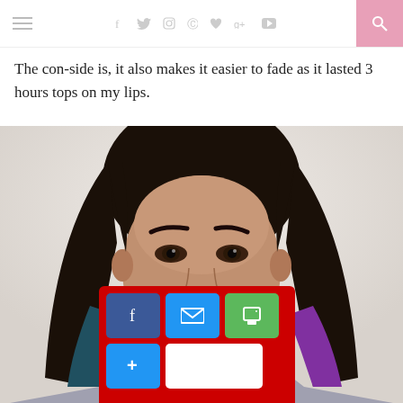Navigation bar with hamburger menu, social icons (f, twitter, instagram, pinterest, heart, g+, youtube), and search
The con-side is, it also makes it easier to fade as it lasted 3 hours tops on my lips.
[Figure (photo): Portrait photo of a young woman with long dark hair (teal and purple dip-dyed ends), looking directly at camera with neutral expression, wearing mauve/dusty rose lip color, against a light grey background. A red social sharing toolbar overlay appears at the bottom with Facebook, email, print buttons and a more/count button.]